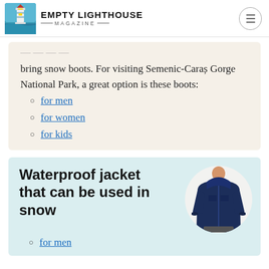Empty Lighthouse Magazine
bring snow boots. For visiting Semenic-Caraș Gorge National Park, a great option is these boots:
for men
for women
for kids
Waterproof jacket that can be used in snow
[Figure (photo): A man wearing a navy blue waterproof hooded jacket, shown from torso up, displayed in a circular white frame.]
for men